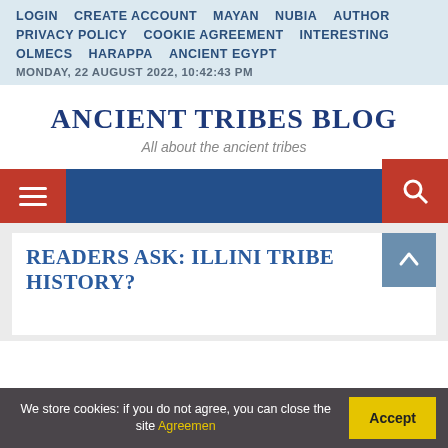LOGIN   CREATE ACCOUNT   MAYAN   NUBIA   AUTHOR
PRIVACY POLICY   COOKIE AGREEMENT   INTERESTING
OLMECS   HARAPPA   ANCIENT EGYPT
MONDAY, 22 AUGUST 2022, 10:42:43 PM
ANCIENT TRIBES BLOG
All about the ancient tribes
[Figure (screenshot): Navigation bar with hamburger menu button (red) on left and search button (red) on right, on a dark blue background]
READERS ASK: ILLINI TRIBE HISTORY?
We store cookies: if you do not agree, you can close the site Agreemen